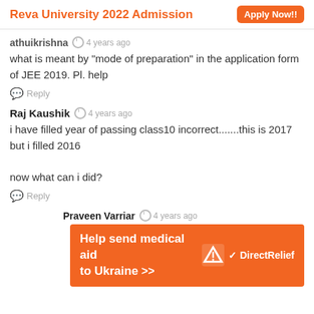Reva University 2022 Admission  Apply Now!!
athuikrishna  4 years ago
what is meant by "mode of preparation" in the application form of JEE 2019. Pl. help
Reply
Raj Kaushik  4 years ago
i have filled year of passing class10 incorrect.......this is 2017 but i filled 2016

now what can i did?
Reply
Praveen Varriar  4 years ago
[Figure (infographic): Orange advertisement banner: Help send medical aid to Ukraine >> with Direct Relief logo]